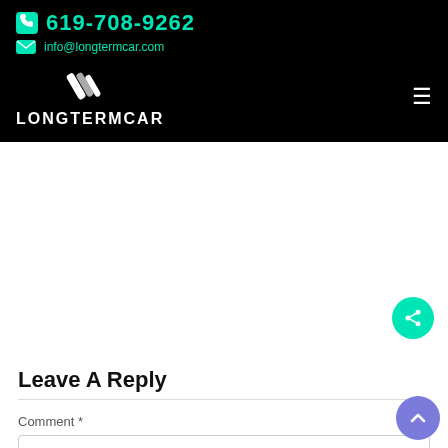619-708-9262  info@longtermcar.com  LONGTERMCAR
[Figure (logo): LongTermCar logo with diagonal stripe mark and text LONGTERMCAR in white on black background]
Leave A Reply
Comment *
[Figure (other): Empty comment text area input box]